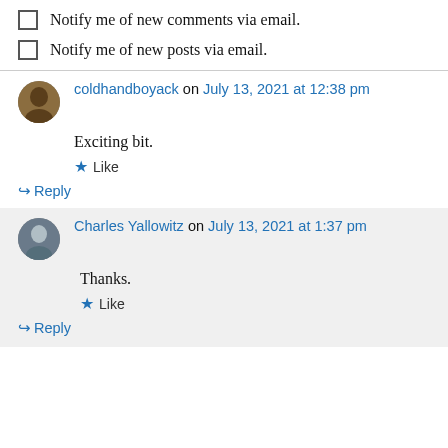Notify me of new comments via email.
Notify me of new posts via email.
coldhandboyack on July 13, 2021 at 12:38 pm
Exciting bit.
★ Like
↪ Reply
Charles Yallowitz on July 13, 2021 at 1:37 pm
Thanks.
★ Like
↪ Reply